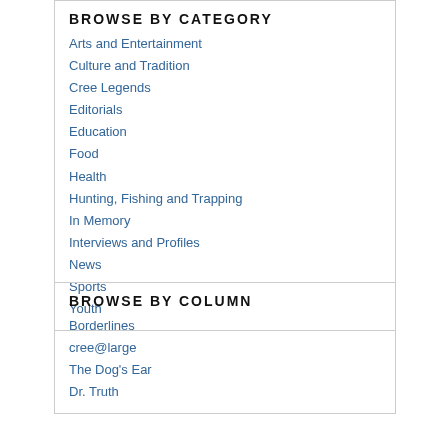BROWSE BY CATEGORY
Arts and Entertainment
Culture and Tradition
Cree Legends
Editorials
Education
Food
Health
Hunting, Fishing and Trapping
In Memory
Interviews and Profiles
News
Sports
Youth
BROWSE BY COLUMN
Borderlines
cree@large
The Dog's Ear
Dr. Truth